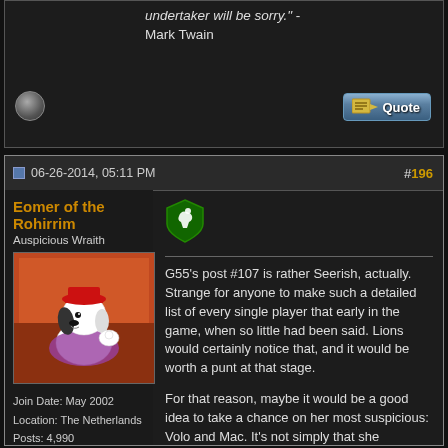undertaker will be sorry." - Mark Twain
06-26-2014, 05:11 PM
#196
Eomer of the Rohirrim
Auspicious Wraith
Join Date: May 2002
Location: The Netherlands
Posts: 4,990
G55's post #107 is rather Seerish, actually. Strange for anyone to make such a detailed list of every single player that early in the game, when so little had been said. Lions would certainly notice that, and it would be worth a punt at that stage.
For that reason, maybe it would be a good idea to take a chance on her most suspicious: Volo and Mac. It's not simply that she highlighted those two, but that she lined them up in front of every other player.
Obviously she couldn't have